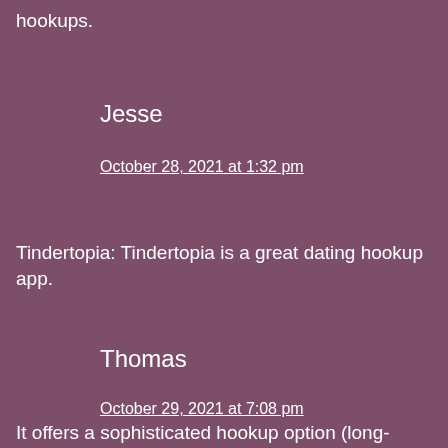hookups.
Jesse
October 28, 2021 at 1:32 pm
Tindertopia: Tindertopia is a great dating hookup app.
Thomas
October 29, 2021 at 7:08 pm
It offers a sophisticated hookup option (long-